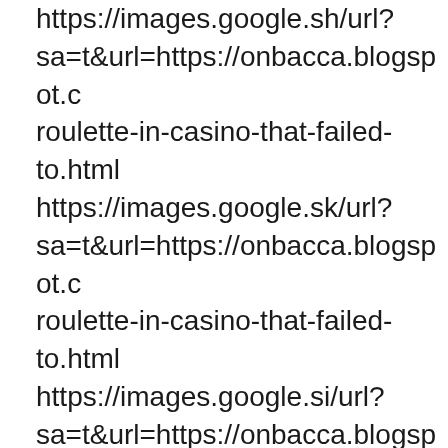https://images.google.sh/url?sa=t&url=https://onbacca.blogspot.c roulette-in-casino-that-failed-to.html https://images.google.sk/url?sa=t&url=https://onbacca.blogspot.c roulette-in-casino-that-failed-to.html https://images.google.si/url?sa=t&url=https://onbacca.blogspot.c roulette-in-casino-that-failed-to.html https://images.google.sh/url?sa=t&url=https://onbacca.blogspot.c roulette-in-casino-that-failed-to.html https://images.google.se/url?sa=t&url=https://onbacca.blogspot.c